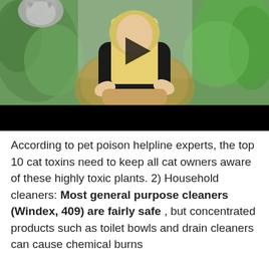[Figure (screenshot): Video thumbnail showing a blonde woman in a black outfit sitting in a wicker chair surrounded by green plants, with a grey cat visible in the upper left. A play button overlay is visible. The bottom portion of the video player is a black bar.]
According to pet poison helpline experts, the top 10 cat toxins need to keep all cat owners aware of these highly toxic plants. 2) Household cleaners: Most general purpose cleaners (Windex, 409) are fairly safe , but concentrated products such as toilet bowls and drain cleaners can cause chemical burns